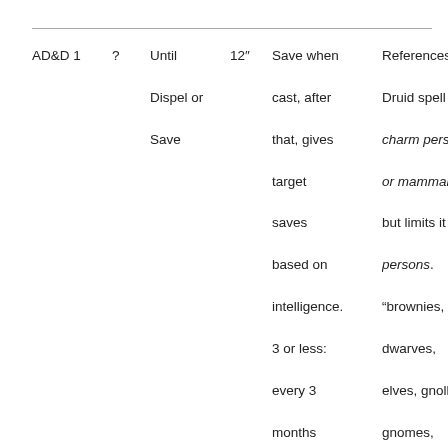| AD&D 1 | ? | Until Dispel or Save | 12″ | Save when cast, after that, gives target saves based on intelligence.
3 or less: every 3 months
4-6: 2 months
7-9: 1 month
10-12: 3 | References Druid spell charm person or mammal, but limits it to persons.
"brownies, dwarves, elves, gnolls, gnomes, goblins, half-elves, halflings, hal- orcs, |